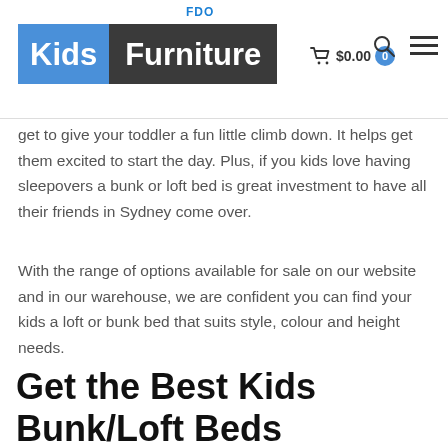FDO | Kids Furniture | $0.00
get to give your toddler a fun little climb down. It helps get them excited to start the day. Plus, if you kids love having sleepovers a bunk or loft bed is great investment to have all their friends in Sydney come over.
With the range of options available for sale on our website and in our warehouse, we are confident you can find your kids a loft or bunk bed that suits style, colour and height needs.
Get the Best Kids Bunk/Loft Beds Delivered to Your Doorstep in